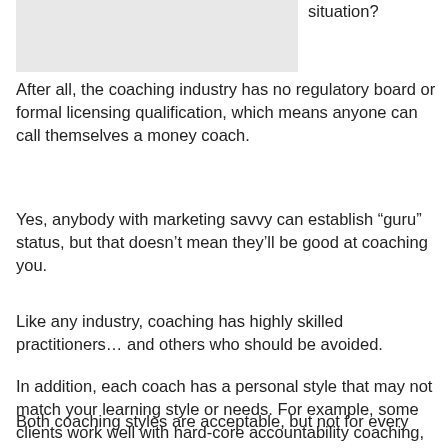[Figure (photo): Gray placeholder image box in the upper left of the page]
situation?
After all, the coaching industry has no regulatory board or formal licensing qualification, which means anyone can call themselves a money coach.
Yes, anybody with marketing savvy can establish “guru” status, but that doesn’t mean they’ll be good at coaching you.
Like any industry, coaching has highly skilled practitioners… and others who should be avoided.
In addition, each coach has a personal style that may not match your learning style or needs. For example, some clients work well with hard-core accountability coaching, while others prefer “woo-woo” new age concepts.
Both coaching styles are acceptable, but not for every